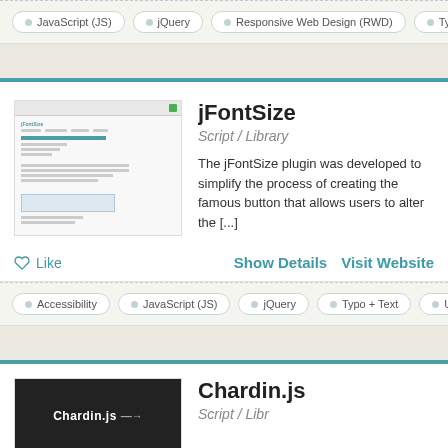JavaScript (JS)  jQuery  Responsive Web Design (RWD)  Typo
[Figure (screenshot): Screenshot of jFontSize plugin webpage]
jFontSize
Script / Library
The jFontSize plugin was developed to simplify the process of creating the famous button that allows users to alter the [...]
Like   Show Details   Visit Website
Accessibility  JavaScript (JS)  jQuery  Typo + Text  Usability
[Figure (screenshot): Screenshot of Chardin.js dark background]
Chardin.js